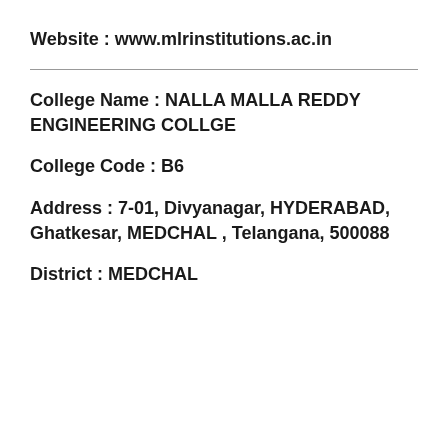Website : www.mlrinstitutions.ac.in
College Name : NALLA MALLA REDDY ENGINEERING COLLGE
College Code : B6
Address : 7-01, Divyanagar, HYDERABAD, Ghatkesar, MEDCHAL , Telangana, 500088
District : MEDCHAL